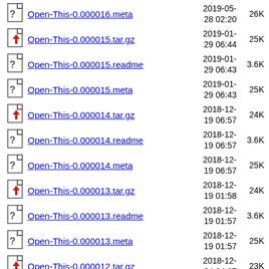Open-This-0.000016.meta  2019-05-28 02:20  26K
Open-This-0.000015.tar.gz  2019-01-29 06:44  25K
Open-This-0.000015.readme  2019-01-29 06:43  3.6K
Open-This-0.000015.meta  2019-01-29 06:43  25K
Open-This-0.000014.tar.gz  2018-12-19 06:57  24K
Open-This-0.000014.readme  2018-12-19 06:57  3.6K
Open-This-0.000014.meta  2018-12-19 06:57  25K
Open-This-0.000013.tar.gz  2018-12-19 01:58  24K
Open-This-0.000013.readme  2018-12-19 01:57  3.6K
Open-This-0.000013.meta  2018-12-19 01:57  25K
Open-This-0.000012.tar.gz  2018-12-04 04:27  23K
Open-This-0.000012.readme  2018-12-